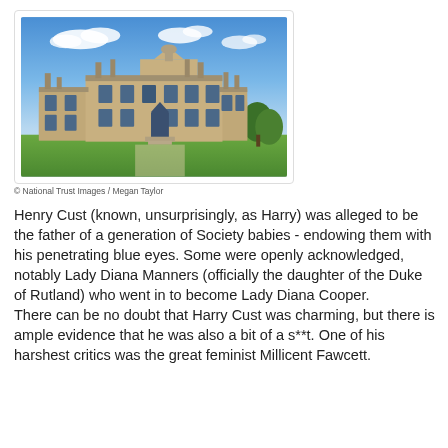[Figure (photo): A large stone country house (English stately home) with blue sky and white clouds above, green lawn in front. Baroque/Georgian architecture with multiple chimneys and a central pediment.]
© National Trust Images / Megan Taylor
Henry Cust (known, unsurprisingly, as Harry) was alleged to be the father of a generation of Society babies - endowing them with his penetrating blue eyes. Some were openly acknowledged, notably Lady Diana Manners (officially the daughter of the Duke of Rutland) who went in to become Lady Diana Cooper.
There can be no doubt that Harry Cust was charming, but there is ample evidence that he was also a bit of a s**t. One of his harshest critics was the great feminist Millicent Fawcett.